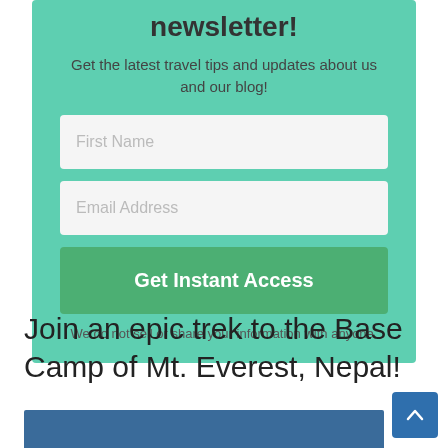newsletter!
Get the latest travel tips and updates about us and our blog!
[Figure (screenshot): Newsletter signup form with First Name input, Email Address input, and Get Instant Access button on teal background]
We do not sell or share your information with anyone.
Join an epic trek to the Base Camp of Mt. Everest, Nepal!
[Figure (photo): Blue image strip at bottom of page, partially visible]